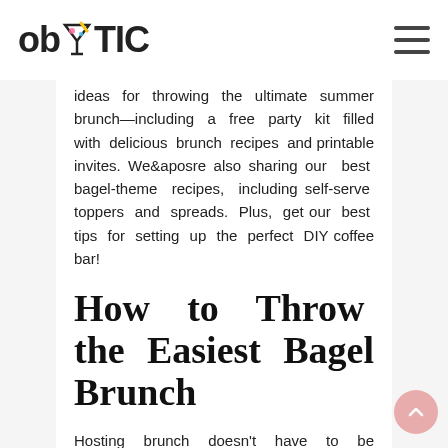ob TIC [logo with martini glass icon and hamburger menu]
ideas for throwing the ultimate summer brunch—including a free party kit filled with delicious brunch recipes and printable invites. We're also sharing our best bagel-theme recipes, including self-serve toppers and spreads. Plus, get our best tips for setting up the perfect DIY coffee bar!
How to Throw the Easiest Bagel Brunch
Hosting brunch doesn't have to be stressful! A build-your-own bagel bar simplifies hosting a breakfast party and